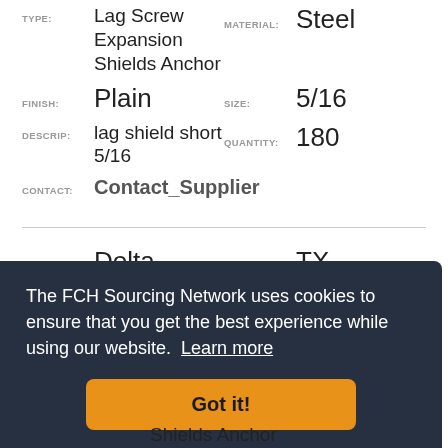TYPE: Lag Screw Expansion Shields Anchor   MATERIAL: Steel
FINISH: Plain   SIZE: 5/16
DESCRIP: lag shield short 5/16   QUANTITY: 180
CONTACT: Contact_Supplier
SUPPLIER: Delta   LOCATION: TX
TYPE: Lag Screw Expansion Shields Anchor   MATERIAL: Steel
FINISH: Plain   SIZE: 1/2
The FCH Sourcing Network uses cookies to ensure that you get the best experience while using our website. Learn more
Got it!
Shields Anchor